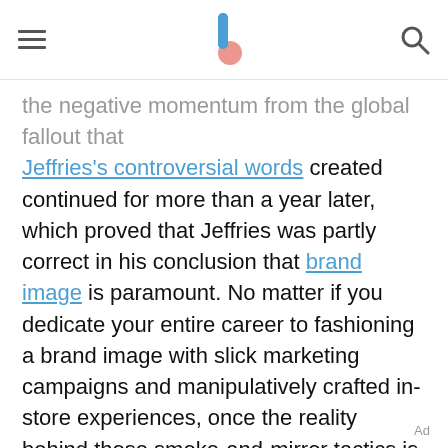[hamburger menu] [logo] [search icon]
the negative momentum from the global fallout that Jeffries's controversial words created continued for more than a year later, which proved that Jeffries was partly correct in his conclusion that brand image is paramount. No matter if you dedicate your entire career to fashioning a brand image with slick marketing campaigns and manipulatively crafted in-store experiences, once the reality behind those smoke-and-mirror tactics is revealed, it's the genuine truth that resonates and sticks with consumers.
Ad